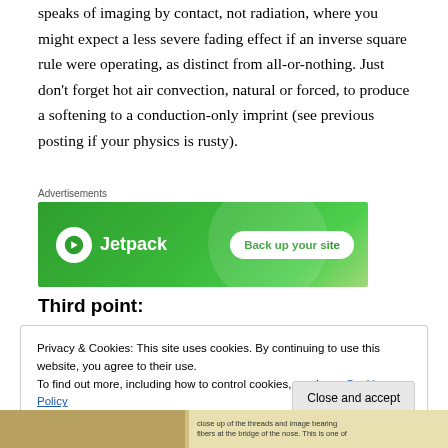speaks of imaging by contact, not radiation, where you might expect a less severe fading effect if an inverse square rule were operating, as distinct from all-or-nothing. Just don't forget hot air convection, natural or forced, to produce a softening to a conduction-only imprint (see previous posting if your physics is rusty).
[Figure (screenshot): Jetpack advertisement banner with green gradient background showing Jetpack logo and 'Back up your site' button]
Third point:
Privacy & Cookies: This site uses cookies. By continuing to use this website, you agree to their use.
To find out more, including how to control cookies, see here: Cookie Policy
[Figure (photo): Bottom strip showing partial image and caption text: 'close up of the threads and image bearing fibers at the bridge of the nose. This is one of']